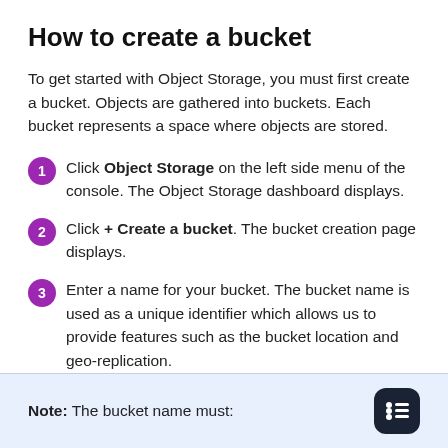How to create a bucket
To get started with Object Storage, you must first create a bucket. Objects are gathered into buckets. Each bucket represents a space where objects are stored.
Click Object Storage on the left side menu of the console. The Object Storage dashboard displays.
Click + Create a bucket. The bucket creation page displays.
Enter a name for your bucket. The bucket name is used as a unique identifier which allows us to provide features such as the bucket location and geo-replication.
Note: The bucket name must: